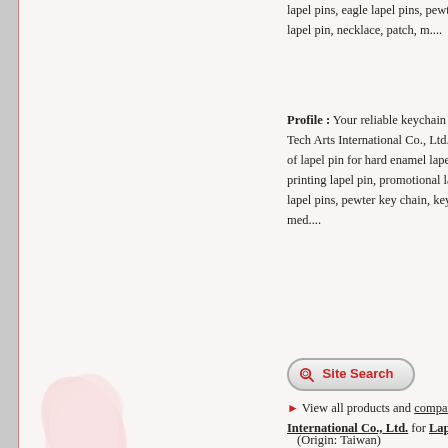lapel pins, eagle lapel pins, pewter key chain, keychain, flashing lapel pin, necklace, patch, m....
Profile : Your reliable keychain manufacturer and best partner Tech Arts International Co., Ltd. is a professional manufacturer of lapel pin for hard enamel lapel pin, soft enamel lapel pins, printing lapel pin, promotional lapel pin, logo lapel pins, eagle lapel pins, pewter key chain, keychain, flashing lapel pin, badges, med....
[Figure (other): Site Search button with magnifying glass icon]
View all products and company profile from Tech Arts International Co., Ltd. for Lapel Pins Manufacturers (Origin: Taiwan)
[Figure (other): Pink flower decorative image bottom left]
[Figure (other): Contact button bottom right]